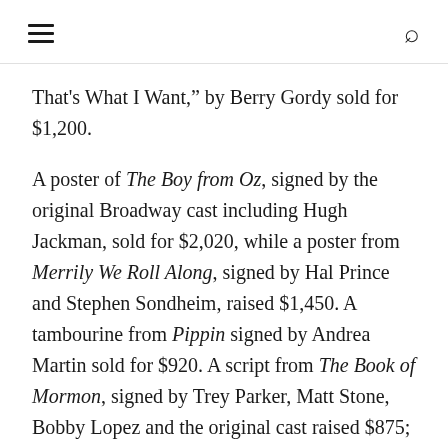[hamburger menu] [search icon]
That's What I Want," by Berry Gordy sold for $1,200.
A poster of The Boy from Oz, signed by the original Broadway cast including Hugh Jackman, sold for $2,020, while a poster from Merrily We Roll Along, signed by Hal Prince and Stephen Sondheim, raised $1,450. A tambourine from Pippin signed by Andrea Martin sold for $920. A script from The Book of Mormon, signed by Trey Parker, Matt Stone, Bobby Lopez and the original cast raised $875; a Follies poster signed by Stephen Sondheim sold for